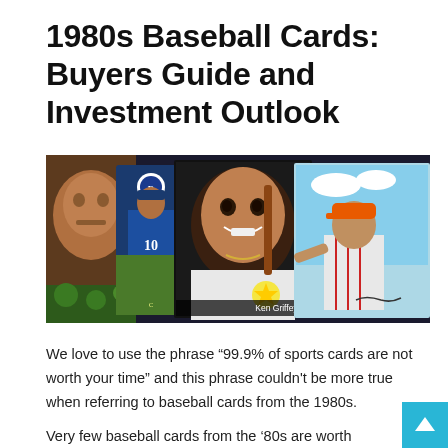1980s Baseball Cards: Buyers Guide and Investment Outlook
[Figure (photo): Collage of 1980s baseball cards including a Kansas City Royals player, Ken Griffey Jr., and another player in an orange cap. Text on one card reads 'Ken Griffey Jr.']
We love to use the phrase “99.9% of sports cards are not worth your time” and this phrase couldn't be more true when referring to baseball cards from the 1980s.
Very few baseball cards from the ’80s are worth investing in